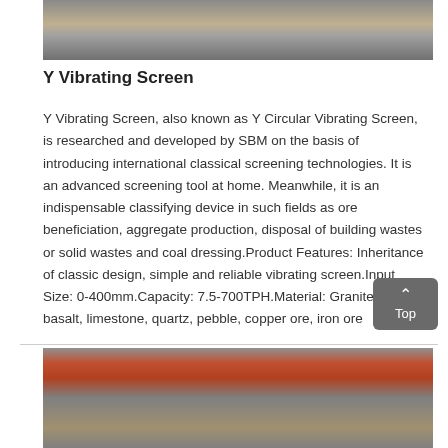[Figure (photo): Top portion of a vibrating screen machine in an industrial setting, showing dark metal frame with yellow markings]
Y Vibrating Screen
Y Vibrating Screen, also known as Y Circular Vibrating Screen, is researched and developed by SBM on the basis of introducing international classical screening technologies. It is an advanced screening tool at home. Meanwhile, it is an indispensable classifying device in such fields as ore beneficiation, aggregate production, disposal of building wastes or solid wastes and coal dressing.Product Features: Inheritance of classic design, simple and reliable vibrating screen.Input Size: 0-400mm.Capacity: 7.5-700TPH.Material: Granite, marble, basalt, limestone, quartz, pebble, copper ore, iron ore
[Figure (photo): Bottom portion showing industrial machinery with a large orange/red circular wheel mechanism in a factory setting with green and white signage visible]